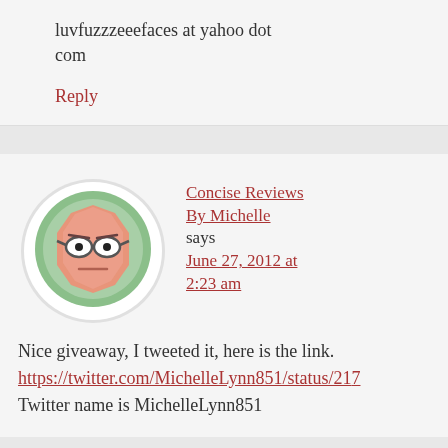luvfuzzzeeefaces at yahoo dot com
Reply
Concise Reviews By Michelle says June 27, 2012 at 2:23 am
[Figure (illustration): Cartoon avatar: a green-background circle with a salmon/peach octagonal cartoon face wearing glasses with a neutral expression]
Nice giveaway, I tweeted it, here is the link. https://twitter.com/MichelleLynn851/status/21... Twitter name is MichelleLynn851